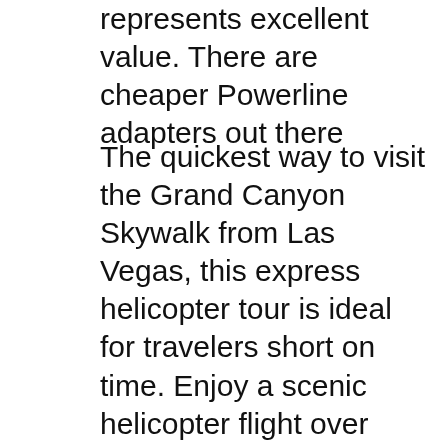represents excellent value. There are cheaper Powerline adapters out there
The quickest way to visit the Grand Canyon Skywalk from Las Vegas, this express helicopter tour is ideal for travelers short on time. Enjoy a scenic helicopter flight over Lake Mead, Hoover Dam and the Las Vegas Strip, before taking advantage of the incredible panoramic views from the Grand Canyon Skywalk. Skyline helicopter tours las vegas review Box Grove You can travel almost anywhere in a helicopter, soaring over the glittering excess of the Las Vegas Strip, the breathtaking desert landscape of Red Rock Canyon, or the mesmerizing